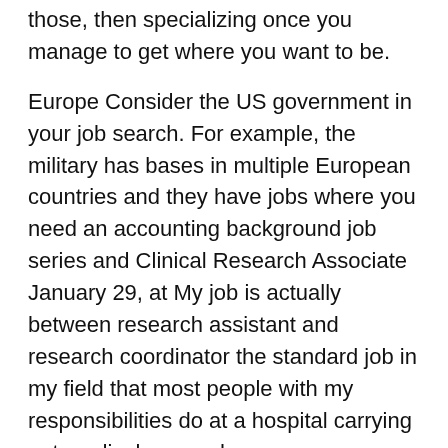those, then specializing once you manage to get where you want to be.
Europe Consider the US government in your job search. For example, the military has bases in multiple European countries and they have jobs where you need an accounting background job series and Clinical Research Associate January 29, at My job is actually between research assistant and research coordinator the standard job in my field that most people with my responsibilities do at a hospital carrying out medical research.
My job is probably comparable to a clinical research coordinator at other places. I work for a non-profit pediatric hospital in a department that is just growing its research program, i. Therefore I mostly manage investigator-initiated projects that are being carried out using department resources, and am paid out of the same fund that pays long-term support staff.